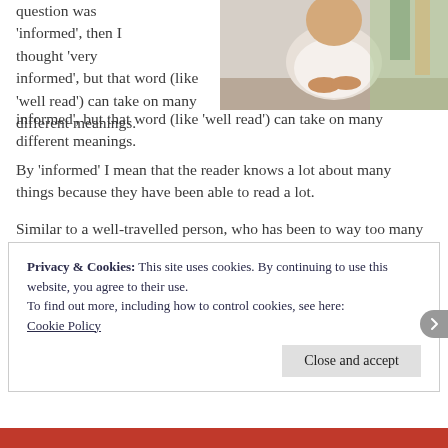[Figure (photo): Person sitting at a desk with hands clasped, bookshelves or colorful background behind them]
question was 'informed', then I thought 'very informed', but that word (like 'well read') can take on many different meanings.
By 'informed' I mean that the reader knows a lot about many things because they have been able to read a lot.
Similar to a well-travelled person, who has been to way too many places. In that sense, a well-read person has read way too many books and so is informed by so many things.
Privacy & Cookies: This site uses cookies. By continuing to use this website, you agree to their use.
To find out more, including how to control cookies, see here: Cookie Policy
Close and accept